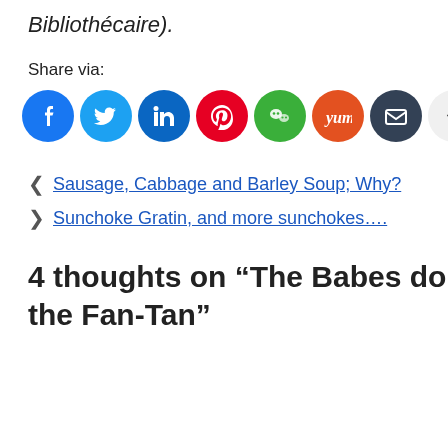Bibliothécaire).
Share via:
[Figure (other): Social share buttons: Facebook, Twitter, LinkedIn, Pinterest, WeChat, Yummly, Email, and More]
< Sausage, Cabbage and Barley Soup; Why?
> Sunchoke Gratin, and more sunchokes….
4 thoughts on “The Babes do the Fan-Tan”